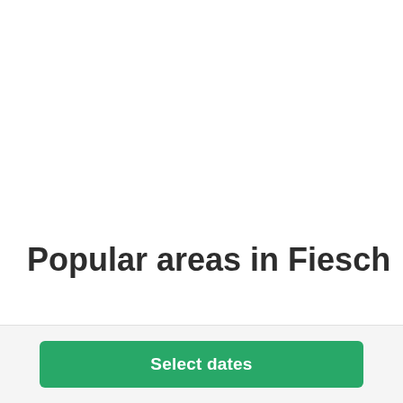Popular areas in Fiesch
Holiday rentals in Switzerland | Holiday rentals in Valais | Holiday rentals in Goms | Holiday rentals in Fiesch |
Select dates